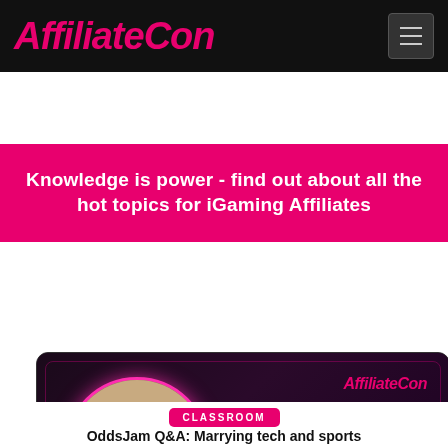AffiliateCon
Knowledge is power - find out about all the hot topics for iGaming Affiliates
[Figure (photo): Speaker card for Alex Monahan, Co-Founder of Odds.Jam, featuring a circular headshot photo of a man wearing a dark cap and grey shirt, with the AffiliateCon logo and a pink particle wave graphic on a dark background.]
CLASSROOM
OddsJam Q&A: Marrying tech and sports